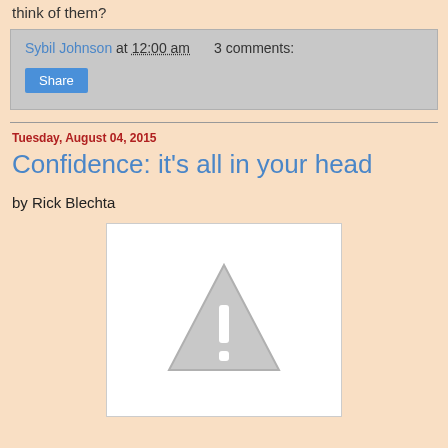think of them?
Sybil Johnson at 12:00 am   3 comments:
Share
Tuesday, August 04, 2015
Confidence: it's all in your head
by Rick Blechta
[Figure (other): Broken image placeholder with warning triangle icon]